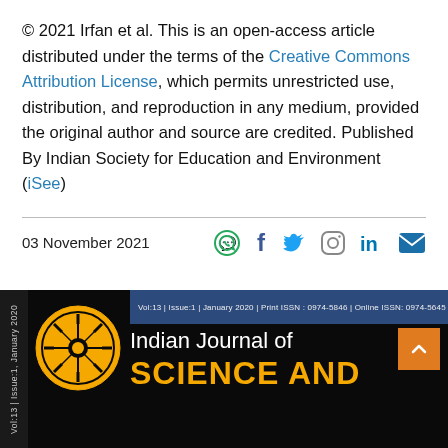© 2021 Irfan et al. This is an open-access article distributed under the terms of the Creative Commons Attribution License, which permits unrestricted use, distribution, and reproduction in any medium, provided the original author and source are credited. Published By Indian Society for Education and Environment (iSee)
03 November 2021
[Figure (other): Social media icons: WhatsApp, Facebook, Twitter, Instagram, LinkedIn, Email]
[Figure (other): Journal banner showing Indian Journal of SCIENCE AND... with logo, Vol 13, Issue 1, January 2020, Print ISSN: 0974-5846, Online ISSN: 0974-5645]